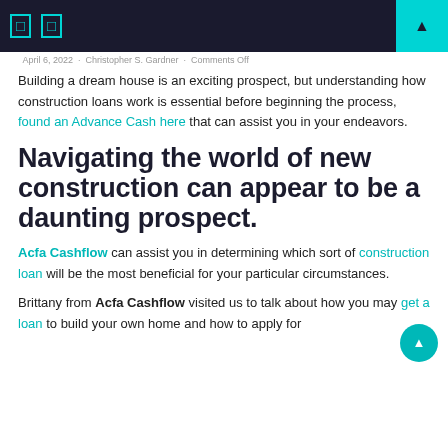April 6, 2022 · Christopher S. Gardner · Comments Off
Building a dream house is an exciting prospect, but understanding how construction loans work is essential before beginning the process, found an Advance Cash here that can assist you in your endeavors.
Navigating the world of new construction can appear to be a daunting prospect.
Acfa Cashflow can assist you in determining which sort of construction loan will be the most beneficial for your particular circumstances.
Brittany from Acfa Cashflow visited us to talk about how you may get a loan to build your own home and how to apply for